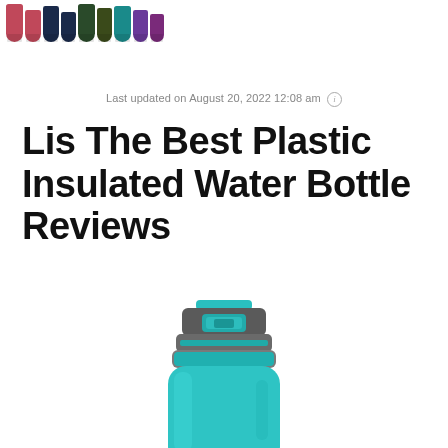[Figure (photo): Row of colorful plastic insulated water bottles in various colors (pink, navy, dark green, olive, teal, purple) shown from the top/cap view]
Last updated on August 20, 2022 12:08 am ℹ
Lis The Best Plastic Insulated Water Bottle Reviews
[Figure (photo): Close-up photo of a teal/turquoise plastic insulated water bottle with grey flip-top lid, showing the top and upper body of the bottle]